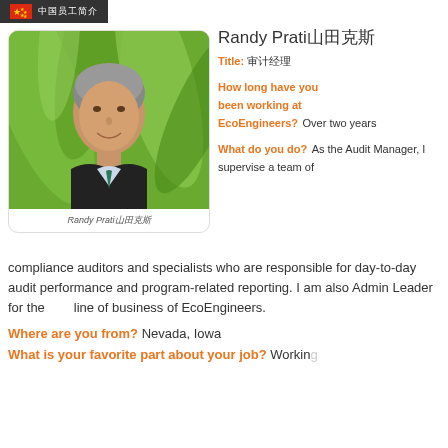🇨🇳 [Chinese characters]
[Figure (photo): Professional headshot of Randy Pratinidhi, a middle-aged man with gray hair, wearing a dark suit and tie, smiling, with green foliage background]
Randy Pratinidhi [Chinese characters]
Randy Pratinidhi [Chinese characters]
Title: [Chinese characters]
How long have you been working at EcoEngineers? Over two years
What do you do? As the Audit Manager, I supervise a team of compliance auditors and specialists who are responsible for day-to-day audit performance and program-related reporting. I am also Admin Leader for the [text] line of business of EcoEngineers.
Where are you from? Nevada, Iowa
What is your favorite part about your job? Working...